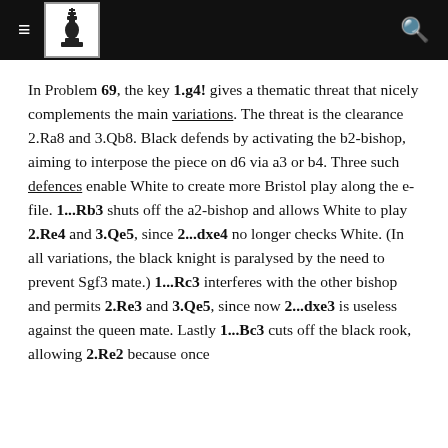≡ [chess king logo] 🔍
In Problem 69, the key 1.g4! gives a thematic threat that nicely complements the main variations. The threat is the clearance 2.Ra8 and 3.Qb8. Black defends by activating the b2-bishop, aiming to interpose the piece on d6 via a3 or b4. Three such defences enable White to create more Bristol play along the e-file. 1...Rb3 shuts off the a2-bishop and allows White to play 2.Re4 and 3.Qe5, since 2...dxe4 no longer checks White. (In all variations, the black knight is paralysed by the need to prevent Sgf3 mate.) 1...Rc3 interferes with the other bishop and permits 2.Re3 and 3.Qe5, since now 2...dxe3 is useless against the queen mate. Lastly 1...Bc3 cuts off the black rook, allowing 2.Re2 because once